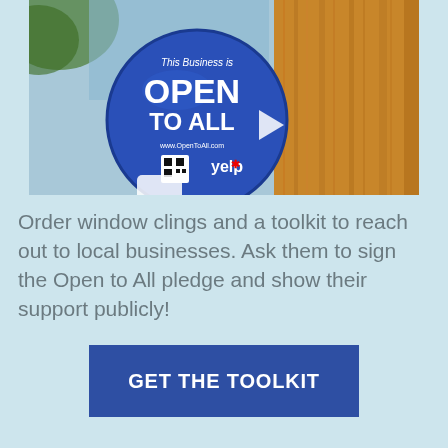[Figure (photo): A circular blue window cling sticker on a glass door or window. The sticker reads 'This Business is OPEN TO ALL' in white text, with a QR code and the Yelp logo at the bottom. Behind the glass is a wooden post/wall and outdoor scenery.]
Order window clings and a toolkit to reach out to local businesses. Ask them to sign the Open to All pledge and show their support publicly!
GET THE TOOLKIT